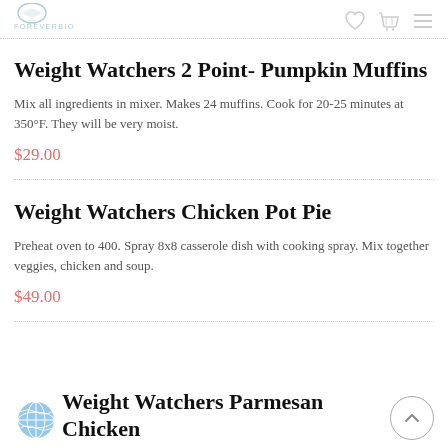FOREVERBIO
Weight Watchers 2 Point- Pumpkin Muffins
Mix all ingredients in mixer. Makes 24 muffins. Cook for 20-25 minutes at 350°F. They will be very moist.
$29.00
Weight Watchers Chicken Pot Pie
Preheat oven to 400. Spray 8x8 casserole dish with cooking spray. Mix together veggies, chicken and soup.
$49.00
Weight Watchers Parmesan Chicken